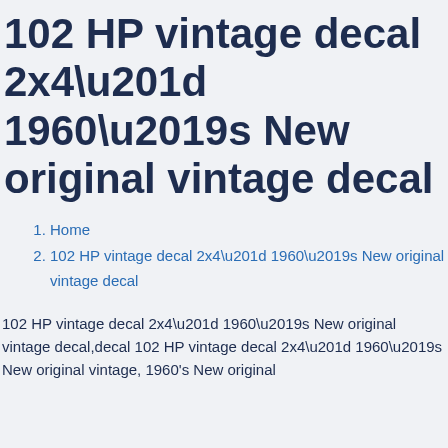102 HP vintage decal 2x4\u201d 1960\u2019s New original vintage decal
1. Home
2. 102 HP vintage decal 2x4\u201d 1960\u2019s New original vintage decal
102 HP vintage decal 2x4\u201d 1960\u2019s New original vintage decal,decal 102 HP vintage decal 2x4\u201d 1960\u2019s New original vintage, 1960's New original